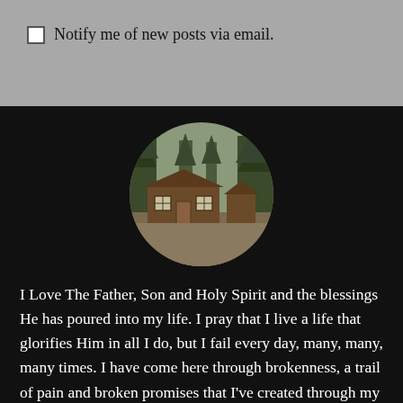Notify me of new posts via email.
[Figure (photo): Circular framed photo of a wooden cabin in a forested area with trees in the background, displayed as a circular profile image on a black background.]
I Love The Father, Son and Holy Spirit and the blessings He has poured into my life. I pray that I live a life that glorifies Him in all I do, but I fail every day, many, many, many times. I have come here through brokenness, a trail of pain and broken promises that I've created through my self…